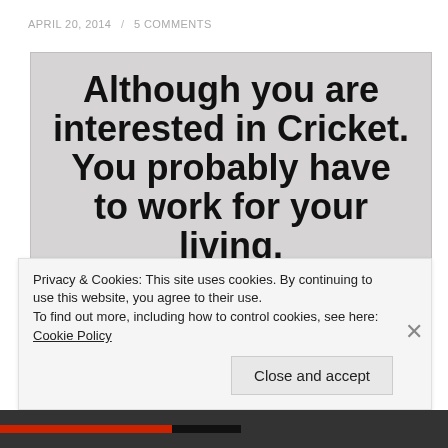APRIL 20, 2014 / 5 COMMENTS
[Figure (photo): Photograph of a printed advertisement on grey background reading: 'Although you are interested in Cricket. You probably have to work for your living.' with smaller text below: 'National Provincial is looking for able young men between the age of 21 and 25 who will']
Privacy & Cookies: This site uses cookies. By continuing to use this website, you agree to their use.
To find out more, including how to control cookies, see here: Cookie Policy
Close and accept